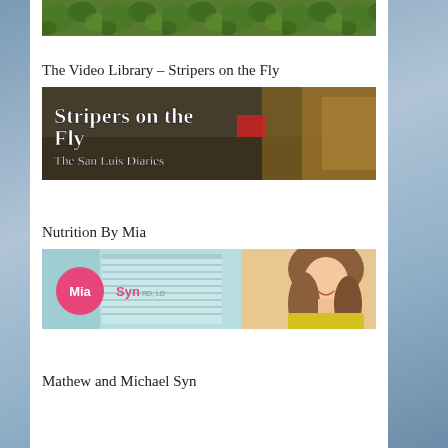[Figure (photo): Top cropped photo showing green foliage/plants]
The Video Library – Stripers on the Fly
[Figure (photo): Banner image reading 'Stripers on the Fly – The San Luis Diaries' with fishing/outdoor action imagery]
Nutrition By Mia
[Figure (photo): Image showing Mia Syn logo (pink circle with white text 'Mia', 'Syn' in pink) beside a smiling woman with long brown hair wearing yellow, in front of a light blue door/window]
Mathew and Michael Syn